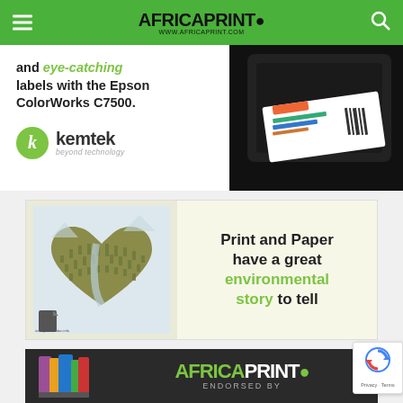Africa Print - www.africaprint.com
[Figure (advertisement): Kemtek/Epson ColorWorks C7500 label printer advertisement showing colored labels being printed, with text 'and eye-catching labels with the Epson ColorWorks C7500.' and Kemtek 'beyond technology' logo]
[Figure (advertisement): Print and Paper environmental story advertisement with heart-shaped forest illustration and text 'Print and Paper have a great environmental story to tell']
[Figure (advertisement): Africa Print endorsed by advertisement banner with colorful stacked books and Africa Print logo]
[Figure (other): reCAPTCHA Privacy - Terms badge]